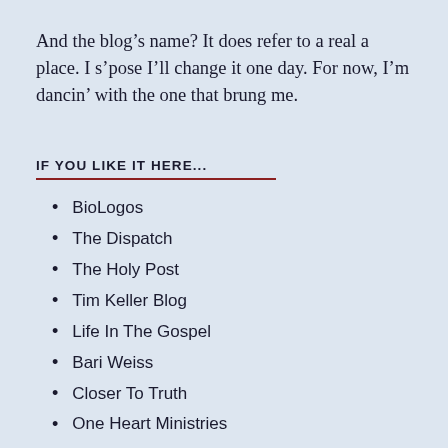And the blog’s name? It does refer to a real a place. I s’pose I’ll change it one day. For now, I’m dancin’ with the one that brung me.
IF YOU LIKE IT HERE...
BioLogos
The Dispatch
The Holy Post
Tim Keller Blog
Life In The Gospel
Bari Weiss
Closer To Truth
One Heart Ministries